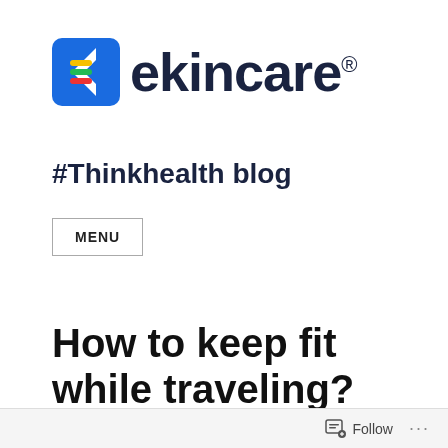[Figure (logo): ekincare logo with colorful E icon and dark blue ekincare text with registered trademark symbol]
#Thinkhealth blog
MENU
How to keep fit while traveling?
[Figure (photo): Partial image strip showing a fitness/travel related photo at the bottom of the page]